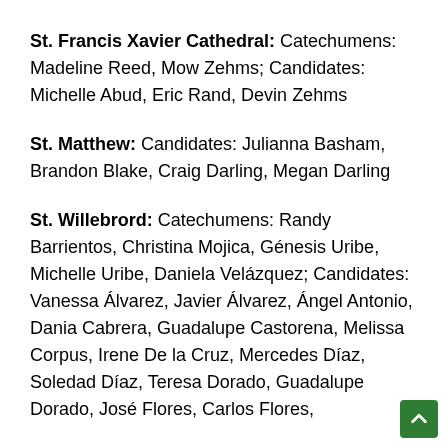St. Francis Xavier Cathedral: Catechumens: Madeline Reed, Mow Zehms; Candidates: Michelle Abud, Eric Rand, Devin Zehms
St. Matthew: Candidates: Julianna Basham, Brandon Blake, Craig Darling, Megan Darling
St. Willebrord: Catechumens: Randy Barrientos, Christina Mojica, Génesis Uribe, Michelle Uribe, Daniela Velázquez; Candidates: Vanessa Álvarez, Javier Álvarez, Ángel Antonio, Dania Cabrera, Guadalupe Castorena, Melissa Corpus, Irene De la Cruz, Mercedes Díaz, Soledad Díaz, Teresa Dorado, Guadalupe Dorado, José Flores, Carlos Flores,